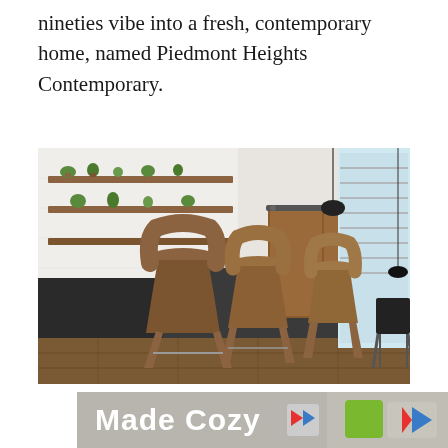nineties vibe into a fresh, contemporary home, named Piedmont Heights Contemporary.
[Figure (photo): Interior kitchen photo showing three modern walnut bar stools at a dark kitchen island, open shelving with plants and decor, barn wood sliding doors, and bright windows with blinds.]
[Figure (photo): Banner image showing 'Made Cozy' text in white over a cozy home decor background with colorful decorative pillows.]